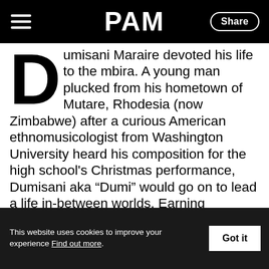PAM
Dumisani Maraire devoted his life to the mbira. A young man plucked from his hometown of Mutare, Rhodesia (now Zimbabwe) after a curious American ethnomusicologist from Washington University heard his composition for the high school's Christmas performance, Dumisani aka “Dumi” would go on to lead a life in-between worlds. Earning degrees, teaching at the University of Washington and Evergreen college, founding ethnomusicology programs in Zimbabwe, pursuing doctoral studies all while relentlessly performing mbira shows and teaching private lessons... Dumi’s cause was singular. Spread the magic of t
This website uses cookies to improve your experience Find out more. Got it
Therethe leading...